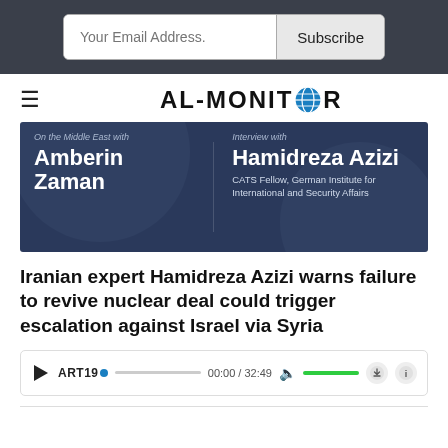[Figure (screenshot): Email subscribe bar with input field and Subscribe button on dark background]
[Figure (logo): AL-MONITOR logo with globe icon, hamburger menu on left]
[Figure (illustration): Podcast banner: 'On the Middle East with Amberin Zaman' | 'Interview with Hamidreza Azizi, CATS Fellow, German Institute for International and Security Affairs' on dark blue background]
Iranian expert Hamidreza Azizi warns failure to revive nuclear deal could trigger escalation against Israel via Syria
[Figure (screenshot): ART19 audio player showing 00:00 / 32:49 with play button, progress bar, volume bar, download and info icons]